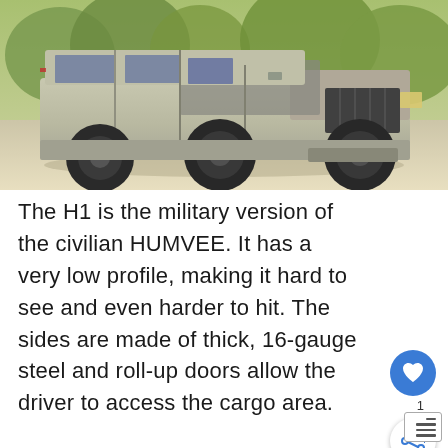[Figure (photo): A military H1 HUMVEE vehicle (tan/olive colored, large off-road tires) photographed on a paved surface with trees in the background.]
The H1 is the military version of the civilian HUMVEE. It has a very low profile, making it hard to see and even harder to hit. The sides are made of thick, 16-gauge steel and roll-up doors allow the driver to access the cargo area.